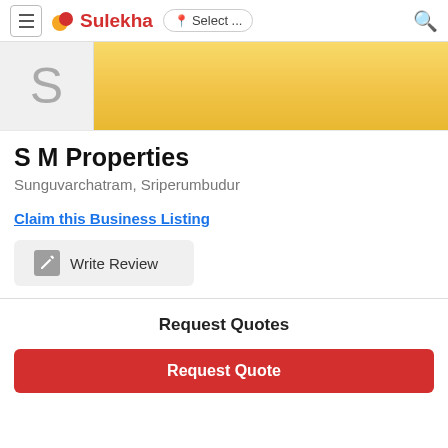Sulekha | Select ... (navigation bar with hamburger menu, Sulekha logo, location selector, and search icon)
[Figure (logo): Business profile banner with a grey avatar box showing the letter S and a golden/yellow gradient banner area]
S M Properties
Sunguvarchatram, Sriperumbudur
Claim this Business Listing
Write Review
Request Quotes
Request Quote